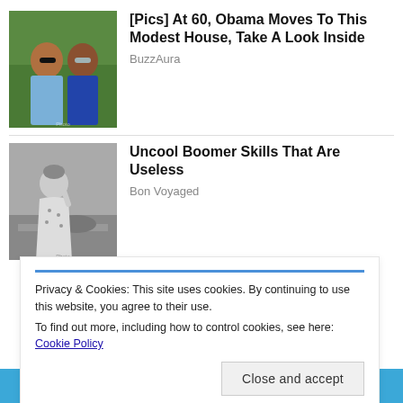[Figure (photo): Photo of a couple (man and woman) outdoors with greenery background]
[Pics] At 60, Obama Moves To This Modest House, Take A Look Inside
BuzzAura
[Figure (photo): Black and white photo of a woman in a dress, vintage style]
Uncool Boomer Skills That Are Useless
Bon Voyaged
Privacy & Cookies: This site uses cookies. By continuing to use this website, you agree to their use.
To find out more, including how to control cookies, see here: Cookie Policy
Close and accept
[Figure (photo): Partial bottom image, person smiling, blue background]